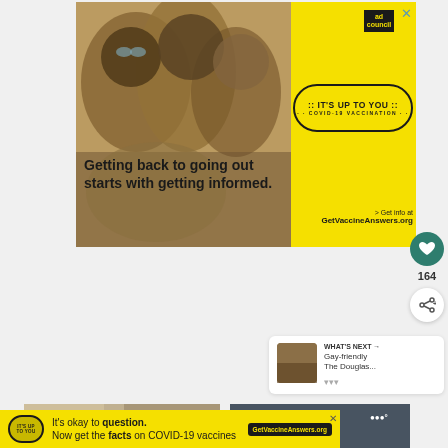[Figure (photo): Advertisement banner for COVID-19 vaccination awareness. Yellow background with photo of three friends laughing together outdoors. Text reads 'Getting back to going out starts with getting informed.' with 'IT'S UP TO YOU COVID-19 VACCINATION' oval badge. URL: GetVaccineAnswers.org. Ad Council logo in top right corner.]
[Figure (infographic): Heart/like button (teal circle with white heart icon)]
164
[Figure (infographic): Share button (white circle with share icon)]
[Figure (infographic): WHAT'S NEXT card showing thumbnail image and text 'Gay-friendly The Douglas...']
[Figure (photo): Bottom partial image strip - left side showing partial outdoor photo]
[Figure (photo): Bottom partial image strip - right side showing dark image with white text weather indicator]
[Figure (infographic): Bottom advertisement bar: yellow background with 'IT'S UP TO YOU' badge, text 'It's okay to question. Now get the facts on COVID-19 vaccines' and GetVaccineAnswers.org button]